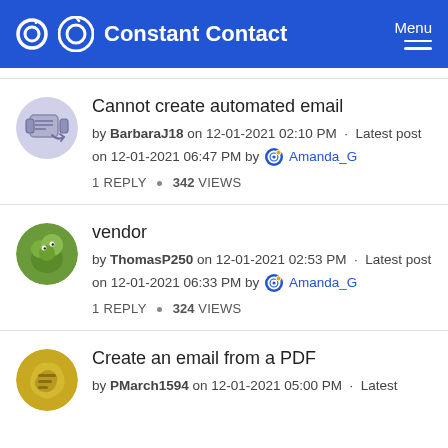Constant Contact | Menu
Cannot create automated email
by BarbaraJ18 on 12-01-2021 02:10 PM · Latest post on 12-01-2021 06:47 PM by Amanda_G
1 REPLY * 342 VIEWS
vendor
by ThomasP250 on 12-01-2021 02:53 PM · Latest post on 12-01-2021 06:33 PM by Amanda_G
1 REPLY * 324 VIEWS
Create an email from a PDF
by PMarch1594 on 12-01-2021 05:00 PM · Latest...